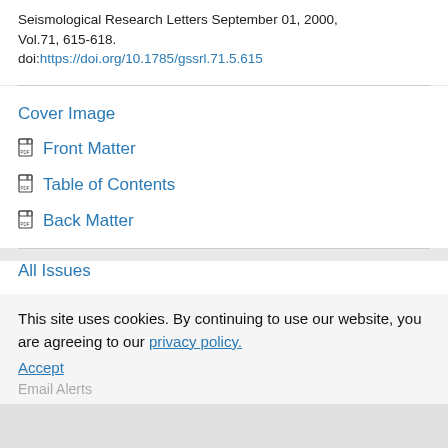Seismological Research Letters September 01, 2000, Vol.71, 615-618.
doi:https://doi.org/10.1785/gssrl.71.5.615
Cover Image
Front Matter
Table of Contents
Back Matter
All Issues
This site uses cookies. By continuing to use our website, you are agreeing to our privacy policy. Accept Email Alerts